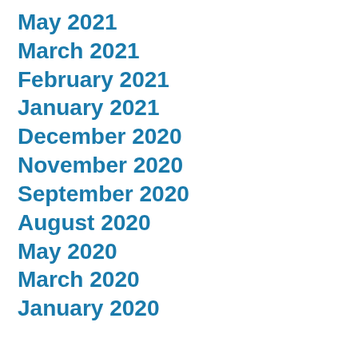May 2021
March 2021
February 2021
January 2021
December 2020
November 2020
September 2020
August 2020
May 2020
March 2020
January 2020